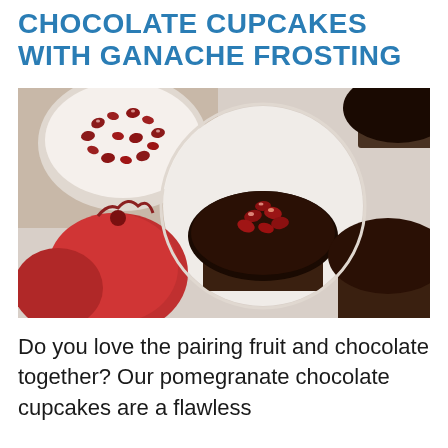CHOCOLATE CUPCAKES WITH GANACHE FROSTING
[Figure (photo): Overhead photo of chocolate cupcakes with dark ganache frosting topped with pomegranate seeds, alongside a bowl of pomegranate seeds and whole pomegranate fruits on a white surface.]
Do you love the pairing fruit and chocolate together? Our pomegranate chocolate cupcakes are a flawless